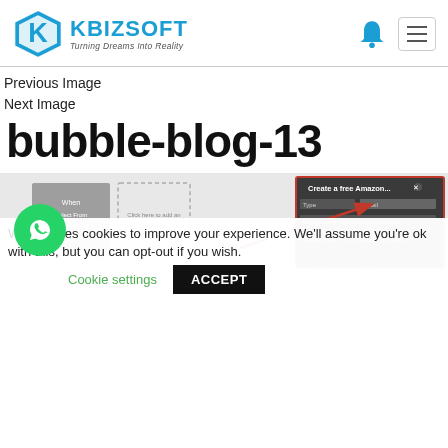KBIZSOFT — Turning Dreams Into Reality
Previous Image
Next Image
bubble-blog-13
[Figure (screenshot): Screenshot of a web application showing a bubble-style blog editor with a dark popup dialog titled 'Create a free Amazon...' containing form fields, and a red arrow pointing to a UI element. A green WhatsApp chat bubble is overlaid at bottom left.]
This website uses cookies to improve your experience. We'll assume you're ok with this, but you can opt-out if you wish.
Cookie settings   ACCEPT